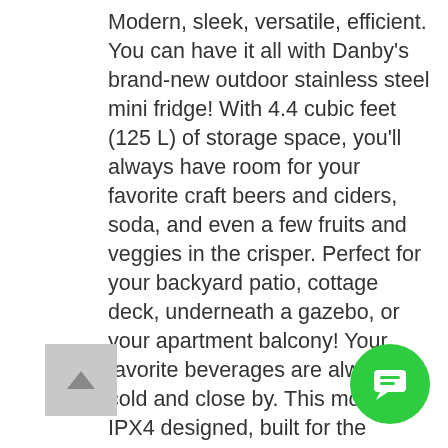Modern, sleek, versatile, efficient. You can have it all with Danby's brand-new outdoor stainless steel mini fridge! With 4.4 cubic feet (125 L) of storage space, you'll always have room for your favorite craft beers and ciders, soda, and even a few fruits and veggies in the crisper. Perfect for your backyard patio, cottage deck, underneath a gazebo, or your apartment balcony! Your favorite beverages are always cold and close by. This model is IPX4 designed, built for the outdoors, and can withstand all the elements yes, even the rain! This model also comes with tall bottle storage on the door, a CanStor beverage dispenser, and three adjustable shelves so you can fit a variety of different can sizes. In addition, there's an easy-to-use mechanical thermostat inside the unit, right at the front for quick temperature adjustments, and an interior LED top-mounted light.